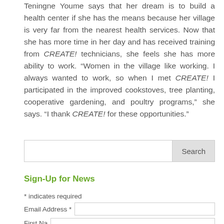Teningne Youme says that her dream is to build a health center if she has the means because her village is very far from the nearest health services. Now that she has more time in her day and has received training from CREATE! technicians, she feels she has more ability to work. “Women in the village like working. I always wanted to work, so when I met CREATE! I participated in the improved cookstoves, tree planting, cooperative gardening, and poultry programs,” she says. “I thank CREATE! for these opportunities.”
Search
Sign-Up for News
* indicates required
Email Address *
First Name